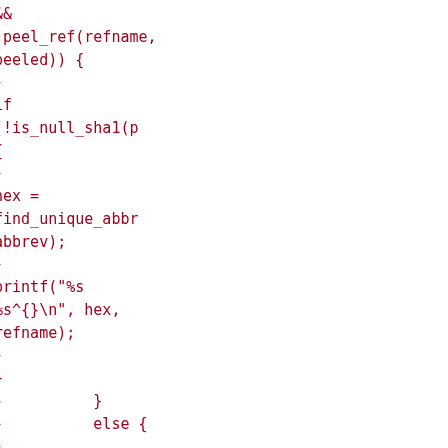&&
!peel_ref(refname, peeled)) {
-
if
(!is_null_sha1(p
{
-
hex =
find_unique_abbr
abbrev);
-
printf("%s
%s^{}\n", hex,
refname);
-
}
-          }
-          else {
-
obj =
parse_object(sha
-
if (!obj)
-
die("git show-
ref: bad ref
%s (%s)",
refname,
-